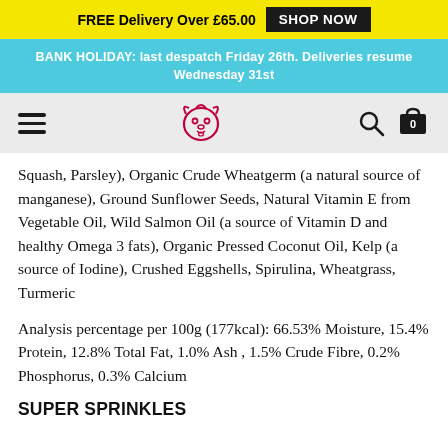FREE Delivery Over £65.00  SHOP NOW
BANK HOLIDAY: last despatch Friday 26th. Deliveries resume Wednesday 31st
[Figure (logo): Navigation bar with hamburger menu, dog logo (pink outline), search icon, and cart icon with 0]
Squash, Parsley), Organic Crude Wheatgerm (a natural source of manganese), Ground Sunflower Seeds, Natural Vitamin E from Vegetable Oil, Wild Salmon Oil (a source of Vitamin D and healthy Omega 3 fats), Organic Pressed Coconut Oil, Kelp (a source of Iodine), Crushed Eggshells, Spirulina, Wheatgrass, Turmeric
Analysis percentage per 100g (177kcal): 66.53% Moisture, 15.4% Protein, 12.8% Total Fat, 1.0% Ash , 1.5% Crude Fibre, 0.2% Phosphorus, 0.3% Calcium
SUPER SPRINKLES